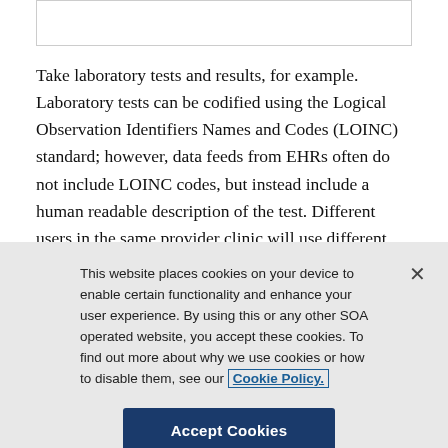[Figure (other): Top bordered box area, partially visible]
Take laboratory tests and results, for example. Laboratory tests can be codified using the Logical Observation Identifiers Names and Codes (LOINC) standard; however, data feeds from EHRs often do not include LOINC codes, but instead include a human readable description of the test. Different users in the same provider clinic will use different terminology to describe the same test. For example, the
This website places cookies on your device to enable certain functionality and enhance your user experience. By using this or any other SOA operated website, you accept these cookies. To find out more about why we use cookies or how to disable them, see our Cookie Policy.
Accept Cookies